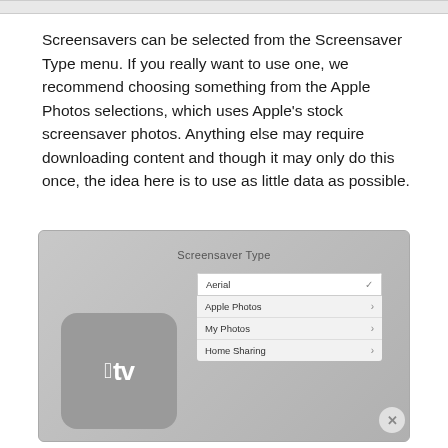Screensavers can be selected from the Screensaver Type menu. If you really want to use one, we recommend choosing something from the Apple Photos selections, which uses Apple's stock screensaver photos. Anything else may require downloading content and though it may only do this once, the idea here is to use as little data as possible.
[Figure (screenshot): Screenshot of Apple TV Screensaver Type menu showing options: Aerial (selected with checkmark), Apple Photos, My Photos, Home Sharing. Apple TV device image shown on left side of the menu screen.]